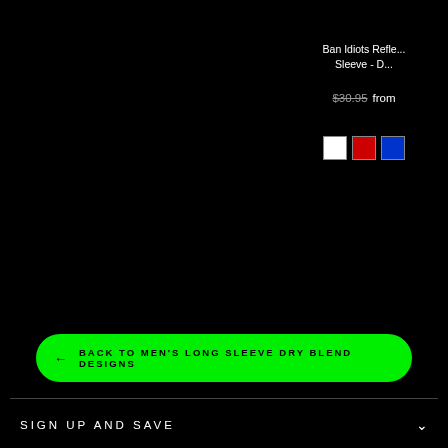Ban Idiots Refle... Sleeve - D...
$30.95 from
[Figure (other): Color swatches: white, red, blue squares]
← BACK TO MEN'S LONG SLEEVE DRY BLEND DESIGNS
SIGN UP AND SAVE
Contact Us
Customer Terms and Conditions
Product Returns
Privacy Policy